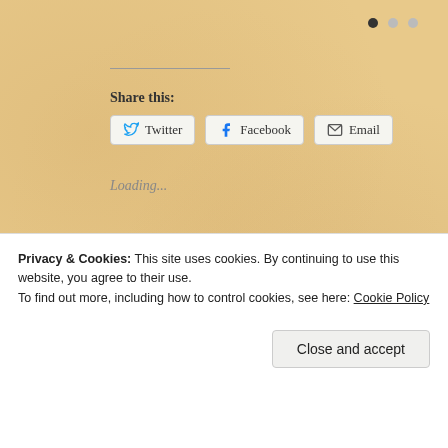[Figure (other): Three pagination dots (one filled, two empty) in top right corner]
Share this:
Twitter  Facebook  Email
Loading...
22 RANDOM PHOTOS OF PARIS
MAY 2014  by jeannieadams  in Uncategorized  Tags: Arc de Triomphe d... Grand Palais, Les Invalides, Louvre, Paris, Paris Fruit Stan...
Privacy & Cookies: This site uses cookies. By continuing to use this website, you agree to their use.
To find out more, including how to control cookies, see here: Cookie Policy
Close and accept